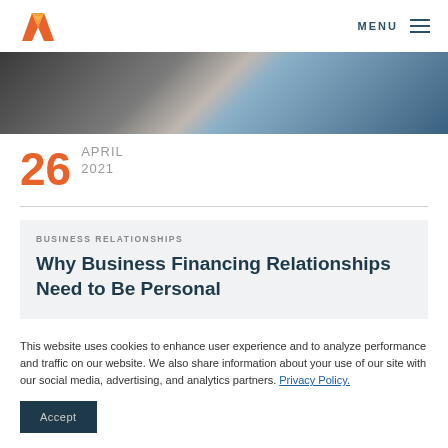MENU
[Figure (photo): Cropped photo strip showing people in a business setting]
26 APRIL 2021
BUSINESS RELATIONSHIPS
Why Business Financing Relationships Need to Be Personal
This website uses cookies to enhance user experience and to analyze performance and traffic on our website. We also share information about your use of our site with our social media, advertising, and analytics partners. Privacy Policy.
Accept